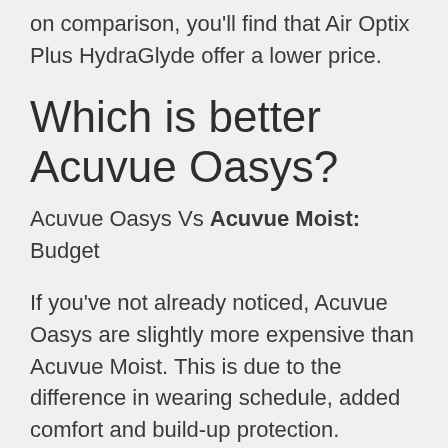on comparison, you'll find that Air Optix Plus HydraGlyde offer a lower price.
Which is better Acuvue Oasys?
Acuvue Oasys Vs Acuvue Moist: Budget
If you've not already noticed, Acuvue Oasys are slightly more expensive than Acuvue Moist. This is due to the difference in wearing schedule, added comfort and build-up protection.